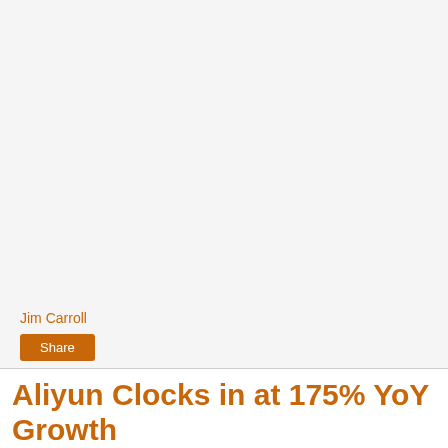[Figure (photo): Large light gray placeholder image area at the top of the page]
Jim Carroll
Share
Aliyun Clocks in at 175% YoY Growth